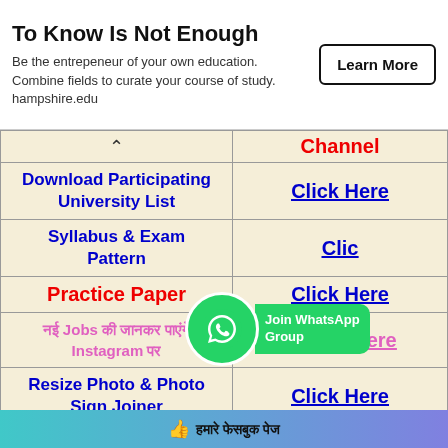[Figure (screenshot): Ad banner: 'To Know Is Not Enough' with tagline and Learn More button for hampshire.edu]
| Channel |  |
| --- | --- |
| Download Participating University List | Click Here |
| Syllabus & Exam Pattern | Click Here |
| Practice Paper | Click Here |
| नई Jobs की जानकर पाएंगे Instagram पर | Follow Here |
| Resize Photo & Photo Sign Joiner | Click Here |
[Figure (infographic): WhatsApp Join Group button overlay]
👍 हमारे फेसबुक पेज